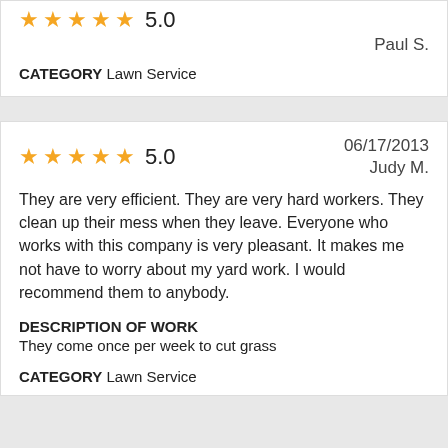[Figure (other): Star rating showing partial stars and score 5.0 (top card, partially visible)]
Paul S.
CATEGORY Lawn Service
[Figure (other): Five filled orange stars with rating 5.0]
06/17/2013
Judy M.
They are very efficient. They are very hard workers. They clean up their mess when they leave. Everyone who works with this company is very pleasant. It makes me not have to worry about my yard work. I would recommend them to anybody.
DESCRIPTION OF WORK
They come once per week to cut grass
CATEGORY Lawn Service